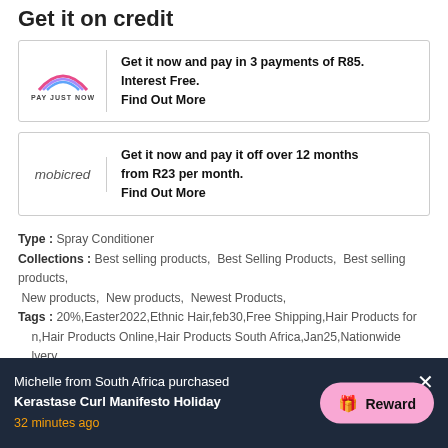Get it on credit
[Figure (logo): PayJustNow logo with rainbow arc above text PAY JUST NOW]
Get it now and pay in 3 payments of R85. Interest Free. Find Out More
[Figure (logo): Mobicred logo in grey and blue italic text]
Get it now and pay it off over 12 months from R23 per month. Find Out More
Type : Spray Conditioner
Collections : Best selling products, Best Selling Products, Best selling products, New products, New products, Newest Products,
Tags : 20%,Easter2022,Ethnic Hair,feb30,Free Shipping,Hair Products for n,Hair Products Online,Hair Products South Africa,Jan25,Nationwide lvery
Michelle from South Africa purchased Kerastase Curl Manifesto Holiday
32 minutes ago